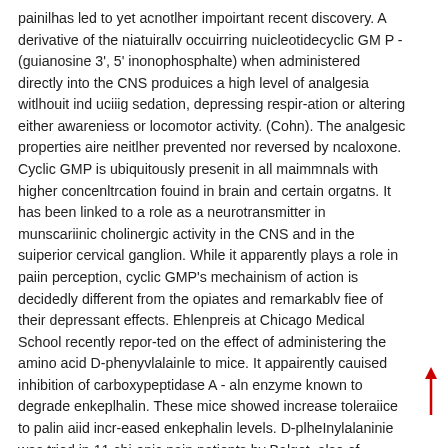painilhas led to yet acnotlher impoirtant recent discovery. A derivative of the niatuirallv occuirring nuicleotidecyclic GM P - (guianosine 3', 5' inonophosphalte) when administered directly into the CNS produices a high level of analgesia witlhouit ind uciiig sedation, depressing respir-ation or altering either awareniess or locomotor activity. (Cohn). The analgesic properties aire neitlher prevented nor reversed by ncaloxone. Cyclic GMP is ubiquitously presenit in all maimmnals with higher concenltrcation fouind in brain and certain orgatns. It has been linked to a role as a neurotransmitter in munscariinic cholinergic activity in the CNS and in the suiperior cervical ganglion. While it apparently plays a role in paiin perception, cyclic GMP's mechainism of action is decidedly different from the opiates and remarkablv fiee of their depressant effects. Ehlenpreis at Chicago Medical School recently repor-ted on the effect of administering the amino acid D-phenyvlalainle to mice. It appairently cauised inhibition of carboxypeptidase A - aln enzyme known to degrade enkeplhalin. These mice showed increase toleraiice to palin aiid incr-eased enkephalin levels. D-plheInylalaninie was tried in 11 chi-onic pain patients by Balgot, also of Chicago